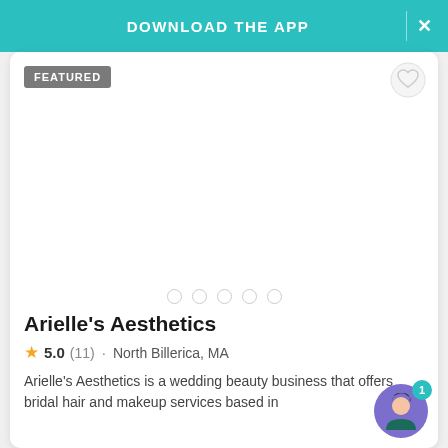[Figure (screenshot): Teal app download banner at top of screen with 'DOWNLOAD THE APP' text and close X button]
FEATURED
[Figure (illustration): Heart icon (favorites) button in top right of listing card]
[Figure (photo): Vendor photo carousel area (blank/white), with 5 pagination dots below]
Arielle's Aesthetics
5.0 (11) · North Billerica, MA
Arielle's Aesthetics is a wedding beauty business that offers bridal hair and makeup services based in
[Figure (illustration): Chat support avatar with notification badge showing 1]